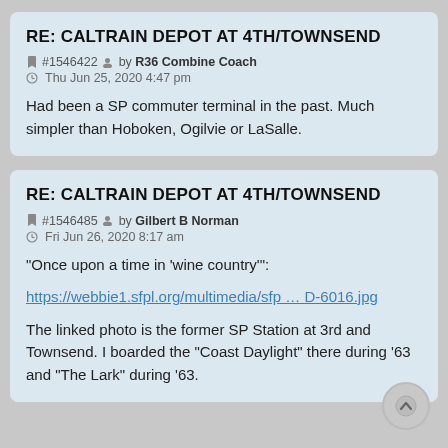RE: CALTRAIN DEPOT AT 4TH/TOWNSEND
#1546422 by R36 Combine Coach
Thu Jun 25, 2020 4:47 pm
Had been a SP commuter terminal in the past. Much simpler than Hoboken, Ogilvie or LaSalle.
RE: CALTRAIN DEPOT AT 4TH/TOWNSEND
#1546485 by Gilbert B Norman
Fri Jun 26, 2020 8:17 am
"Once upon a time in 'wine country'":
https://webbie1.sfpl.org/multimedia/sfp … D-6016.jpg
The linked photo is the former SP Station at 3rd and Townsend. I boarded the "Coast Daylight" there during '63 and "The Lark" during '63.